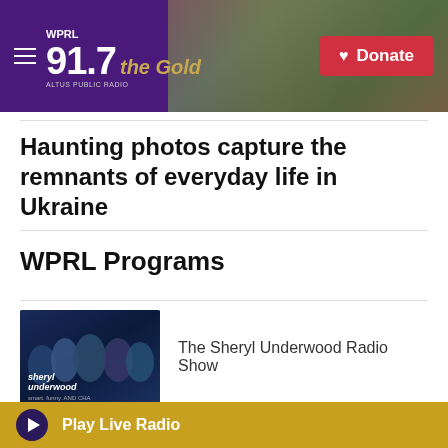[Figure (screenshot): WPRL 91.7 The Gold radio station header banner with logo, hamburger menu, background photo of house exterior, and red Donate button]
Haunting photos capture the remnants of everyday life in Ukraine
WPRL Programs
[Figure (photo): The Sheryl Underwood Radio Show promotional image showing multiple hosts with text 'sheryl underwood smart. funny. AND CHA']
The Sheryl Underwood Radio Show
[Figure (photo): Coach Fred McNair Radio Show thumbnail with purple and gold colors]
Coach Fred McNair Radio Show
Play Live Radio